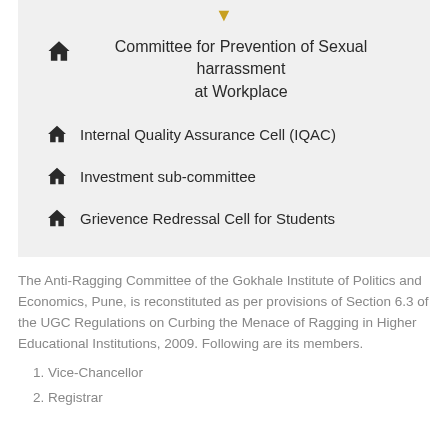Committee for Prevention of Sexual harrassment at Workplace
Internal Quality Assurance Cell (IQAC)
Investment sub-committee
Grievence Redressal Cell for Students
The Anti-Ragging Committee of the Gokhale Institute of Politics and Economics, Pune, is reconstituted as per provisions of Section 6.3 of the UGC Regulations on Curbing the Menace of Ragging in Higher Educational Institutions, 2009. Following are its members.
1. Vice-Chancellor
2. Registrar